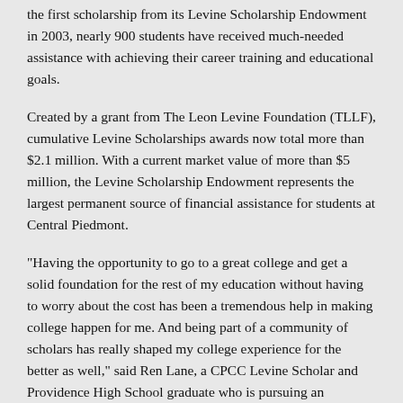the first scholarship from its Levine Scholarship Endowment in 2003, nearly 900 students have received much-needed assistance with achieving their career training and educational goals.
Created by a grant from The Leon Levine Foundation (TLLF), cumulative Levine Scholarships awards now total more than $2.1 million. With a current market value of more than $5 million, the Levine Scholarship Endowment represents the largest permanent source of financial assistance for students at Central Piedmont.
"Having the opportunity to go to a great college and get a solid foundation for the rest of my education without having to worry about the cost has been a tremendous help in making college happen for me. And being part of a community of scholars has really shaped my college experience for the better as well," said Ren Lane, a CPCC Levine Scholar and Providence High School graduate who is pursuing an associate in arts degree.
According to Levine Scholar Adam Penninger, a graduate of